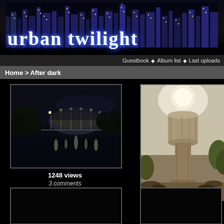[Figure (screenshot): Urban Twilight website header with city skyline background and large logo text]
Guestbook ◆ Album list ◆ Last uploads
Home > After dark
[Figure (photo): Night photo of Sydney Harbour Bridge with city lights reflecting on water]
1248 views
3 comments
(9 votes)
Rip MEAB
[Figure (photo): Photo of an old stone water tower against a bright sky]
2215 views
9 comments
(6 votes)